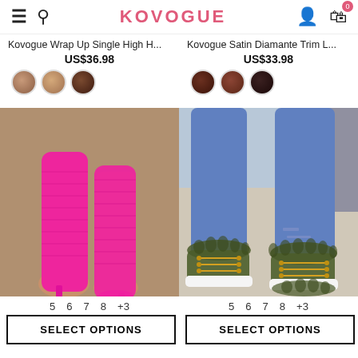KOVOGUE
Kovogue Wrap Up Single High H...
US$36.98
Kovogue Satin Diamante Trim L...
US$33.98
[Figure (photo): Hot pink knit over-the-knee heeled boots on a model's legs]
5  6  7  8  +3
SELECT OPTIONS
[Figure (photo): Olive green fur-trimmed lace-up sneakers worn with blue jeans]
5  6  7  8  +3
SELECT OPTIONS